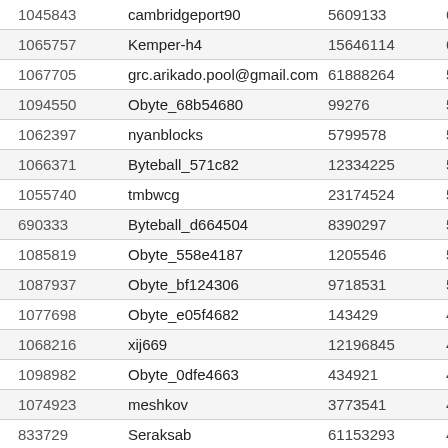| 1045843 | cambridgeport90 | 5609133 | 625… |
| 1065757 | Kemper-h4 | 15646114 | 611… |
| 1067705 | grc.arikado.pool@gmail.com | 61888264 | 586… |
| 1094550 | Obyte_68b54680 | 99276 | 556… |
| 1062397 | nyanblocks | 5799578 | 547… |
| 1066371 | Byteball_571c82 | 12334225 | 542… |
| 1055740 | tmbwcg | 23174524 | 535… |
| 690333 | Byteball_d664504 | 8390297 | 521… |
| 1085819 | Obyte_558e4187 | 1205546 | 511… |
| 1087937 | Obyte_bf124306 | 9718531 | 505… |
| 1077698 | Obyte_e05f4682 | 143429 | 494… |
| 1068216 | xij669 | 12196845 | 491… |
| 1098982 | Obyte_0dfe4663 | 434921 | 462… |
| 1074923 | meshkov | 3773541 | 456… |
| 833729 | Seraksab | 61153293 | 455… |
| 1099367 | Obyte_ff994687 | 134985 | 455… |